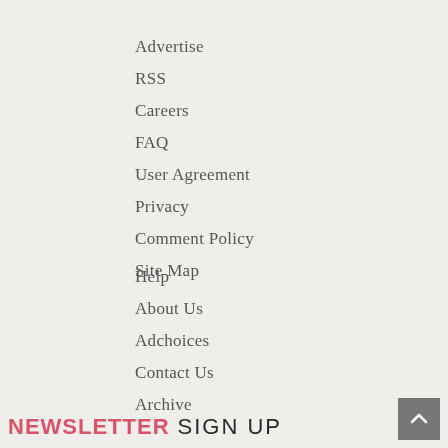Advertise
RSS
Careers
FAQ
User Agreement
Privacy
Comment Policy
Site Map
Help
About Us
Adchoices
Contact Us
Archive
NEWSLETTER SIGN UP